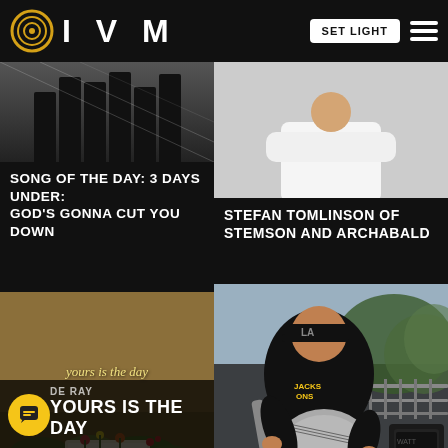IVM | SET LIGHT [button] [menu]
[Figure (photo): Band silhouette photo, dark background, multiple figures standing]
SONG OF THE DAY: 3 DAYS UNDER: GOD'S GONNA CUT YOU DOWN
[Figure (photo): Person in white t-shirt, upper body portrait on light background]
STEFAN TOMLINSON OF STEMSON AND ARCHABALD
[Figure (photo): Album art: 'yours is the day' with floral/plant illustration on earthy background]
DE RAY
YOURS IS THE DAY
[Figure (photo): Musician playing Les Paul guitar on stage, wearing black cap and black shirt with yellow logo, outdoor venue]